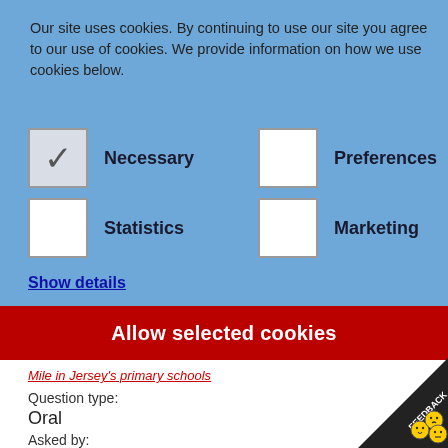Our site uses cookies. By continuing to use our site you agree to our use of cookies. We provide information on how we use cookies below.
✓ Necessary
□ Preferences
□ Statistics
□ Marketing
Show details
Allow selected cookies
Mile in Jersey's primary schools
Question type:
Oral
Asked by:
Steve Pallett